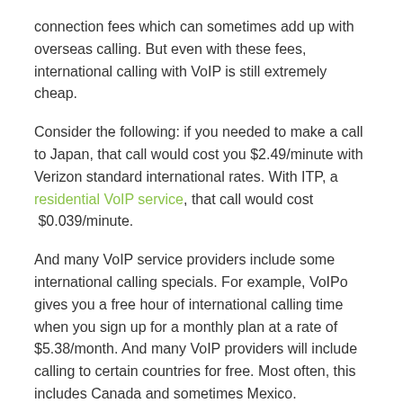connection fees which can sometimes add up with overseas calling. But even with these fees, international calling with VoIP is still extremely cheap.
Consider the following: if you needed to make a call to Japan, that call would cost you $2.49/minute with Verizon standard international rates. With ITP, a residential VoIP service, that call would cost  $0.039/minute.
And many VoIP service providers include some international calling specials. For example, VoIPo gives you a free hour of international calling time when you sign up for a monthly plan at a rate of $5.38/month. And many VoIP providers will include calling to certain countries for free. Most often, this includes Canada and sometimes Mexico.
Free Calling with Other Subscribers
Most VoIP services allow you to make free calls to other subscribers with that same service. This is why you can download and use a service like Skype to call other people on Skype for free. In most cases, this is a worldwide offer. That is, you can call any subscriber anywhere in the world for free. If you have family in other countries, you can save money by communicating via